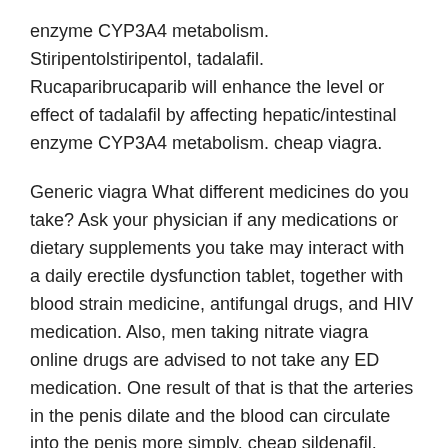enzyme CYP3A4 metabolism. Stiripentolstiripentol, tadalafil. Rucaparibrucaparib will enhance the level or effect of tadalafil by affecting hepatic/intestinal enzyme CYP3A4 metabolism. cheap viagra.
Generic viagra What different medicines do you take? Ask your physician if any medications or dietary supplements you take may interact with a daily erectile dysfunction tablet, together with blood strain medicine, antifungal drugs, and HIV medication. Also, men taking nitrate viagra online drugs are advised to not take any ED medication. One result of that is that the arteries in the penis dilate and the blood can circulate into the penis more simply. cheap sildenafil.
Viagra 20mg Many of those events have been reported to happen during or shortly after sexual activity, and a